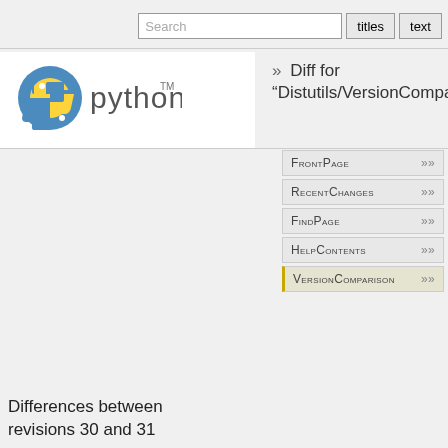Search  titles  text
[Figure (logo): Python logo with snake icon and 'python TM' wordmark]
Diff for "Distutils/VersionComparison"
FrontPage »
RecentChanges »
FindPage »
HelpContents »
VersionComparison »
Page
» Immutable Page
» Info
» Attachments
» More Actions:
User
» Login
Differences between revisions 30 and 31